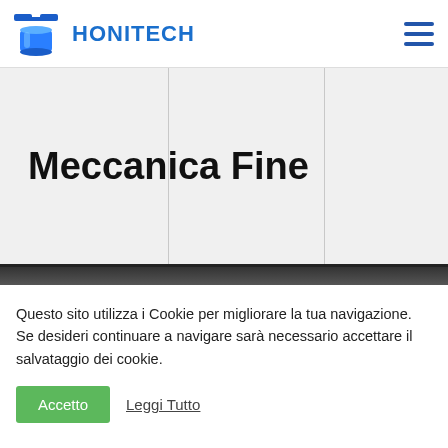HONITECH
Meccanica Fine
Questo sito utilizza i Cookie per migliorare la tua navigazione. Se desideri continuare a navigare sarà necessario accettare il salvataggio dei cookie.
Accetto   Leggi Tutto